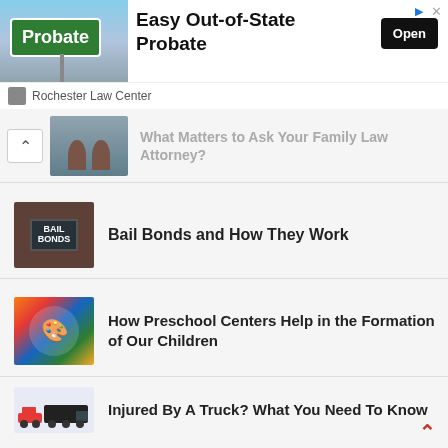[Figure (screenshot): Advertisement banner for Rochester Law Center - Easy Out-of-State Probate with Open button]
What Matters to Ask Your Family Law Attorney?
Bail Bonds and How They Work
How Preschool Centers Help in the Formation of Our Children
Injured By A Truck? What You Need To Know